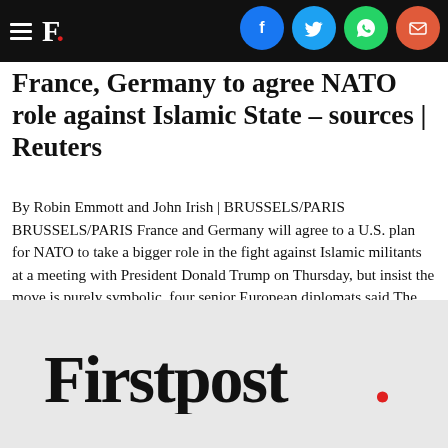F. [Firstpost logo with hamburger menu and social share icons: Facebook, Twitter, WhatsApp, Email]
France, Germany to agree NATO role against Islamic State - sources | Reuters
By Robin Emmott and John Irish | BRUSSELS/PARIS BRUSSELS/PARIS France and Germany will agree to a U.S. plan for NATO to take a bigger role in the fight against Islamic militants at a meeting with President Donald Trump on Thursday, but insist the move is purely symbolic, four senior European diplomats said.The decision to allow the North Atlantic Treaty Organization to join the coalition against Islamic State in Syria and Iraq follows weeks of pressure on the two allies, who are wary of NATO confronting Russia in Syria and of alienating Arab countries who see NATO as pushing a pro-Western agenda."NATO as an institution will join the coalition," said one senior diplomat involved in the discussions. "The question is whether this just a symbolic gesture to the United States
[Figure (logo): Firstpost logo in large bold serif font with a red period/dot at the end, on a light gray background]